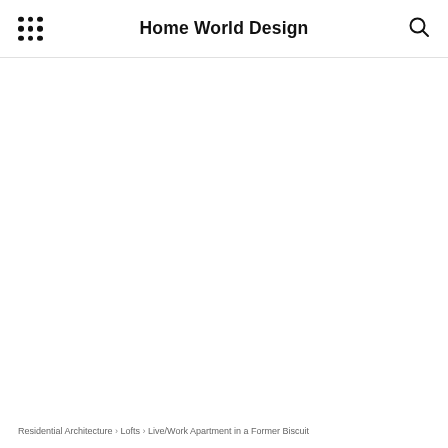Home World Design
Residential Architecture › Lofts › Live/Work Apartment in a Former Biscuit